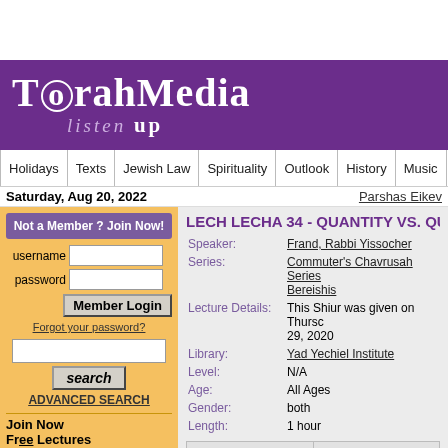[Figure (logo): TorahMedia listen up logo on purple background]
Holidays | Texts | Jewish Law | Spirituality | Outlook | History | Music
Saturday, Aug 20, 2022
Parshas Eikev
Not a Member ? Join Now!
username
password
Member Login
Forgot your password?
search
ADVANCED SEARCH
Join Now
Free Lectures
LECH LECHA 34 - QUANTITY VS. QUALITY
| Field | Value |
| --- | --- |
| Speaker: | Frand, Rabbi Yissocher |
| Series: | Commuter's Chavrusah Series Bereishis |
| Lecture Details: | This Shiur was given on Thursday, Oct 29, 2020 |
| Library: | Yad Yechiel Institute |
| Level: | N/A |
| Age: | All Ages |
| Gender: | both |
| Length: | 1 hour |
| Stream Now | Download |
| --- | --- |
| Not Available. | Not Available. |